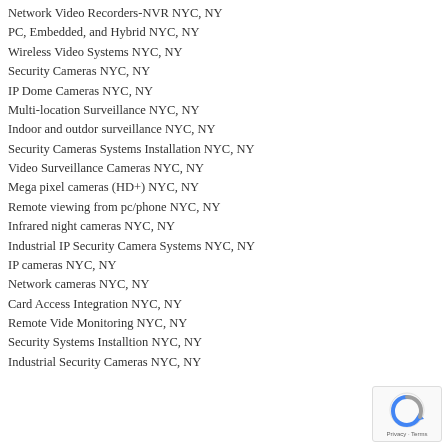Network Video Recorders-NVR NYC, NY
PC, Embedded, and Hybrid NYC, NY
Wireless Video Systems NYC, NY
Security Cameras NYC, NY
IP Dome Cameras NYC, NY
Multi-location Surveillance NYC, NY
Indoor and outdor surveillance NYC, NY
Security Cameras Systems Installation NYC, NY
Video Surveillance Cameras NYC, NY
Mega pixel cameras (HD+) NYC, NY
Remote viewing from pc/phone NYC, NY
Infrared night cameras NYC, NY
Industrial IP Security Camera Systems NYC, NY
IP cameras NYC, NY
Network cameras NYC, NY
Card Access Integration NYC, NY
Remote Vide Monitoring NYC, NY
Security Systems Installtion NYC, NY
Industrial Security Cameras NYC, NY
[Figure (logo): reCAPTCHA badge with Privacy and Terms text]